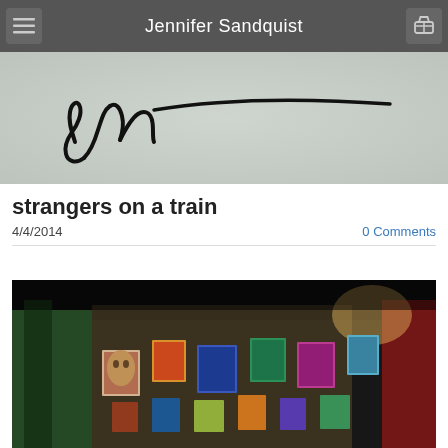Jennifer Sandquist
[Figure (illustration): Signature/logo of Jennifer Sandquist — a handwritten cursive signature in black ink on a light gray/white textured background]
strangers on a train
4/4/2014
0 Comments
[Figure (photo): Blurred interior photo of an art gallery or bar with colorful paintings hung on walls, warm lighting, and decorative elements in shades of green, red, and blue]